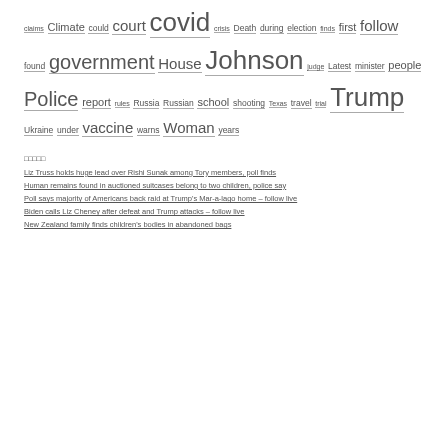claims Climate could court covid crisis Death during election finds first follow found government House Johnson judge Latest minister people Police report rules Russia Russian school shooting Texas travel trial Trump Ukraine under vaccine warns Woman years
□□□□□
Liz Truss holds huge lead over Rishi Sunak among Tory members, poll finds
Human remains found in auctioned suitcases belong to two children, police say
Poll says majority of Americans back raid at Trump's Mar-a-lago home – follow live
Biden calls Liz Cheney after defeat and Trump attacks – follow live
New Zealand family finds children's bodies in abandoned bags